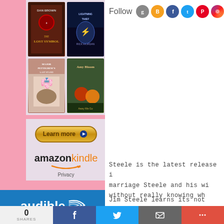[Figure (photo): Book cover grid showing Dan Brown Lost Symbol, Lightning Thief, Major Pettigrew's Last Stand, Amy Bloom book]
[Figure (other): Learn more button with play icon]
[Figure (logo): Amazon Kindle logo with orange smile]
Privacy
[Figure (logo): Audible logo in blue box]
Follow
[Figure (other): Social media icons: Goodreads, Blogger, Facebook, Twitter, Pinterest, Instagram]
Steele is the latest release i... marriage Steele and his wi... without really knowing wh...
Jim Steele learns its not... wife, Ella, back I'm sure co...
0
SHARES